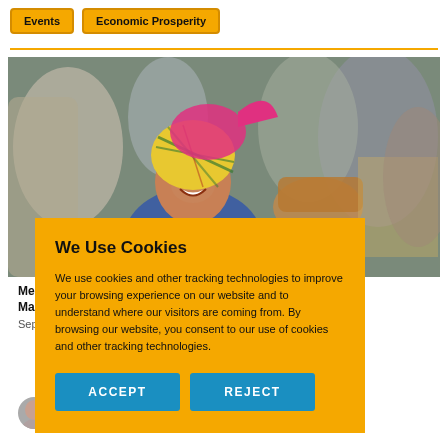Events
Economic Prosperity
[Figure (photo): A smiling woman wearing a colorful patterned headscarf (pink and yellow/green) in a market setting with people in the background.]
Me... Ma...
Sep...
NOEL SHASKAN
We Use Cookies
We use cookies and other tracking technologies to improve your browsing experience on our website and to understand where our visitors are coming from. By browsing our website, you consent to our use of cookies and other tracking technologies.
ACCEPT
REJECT